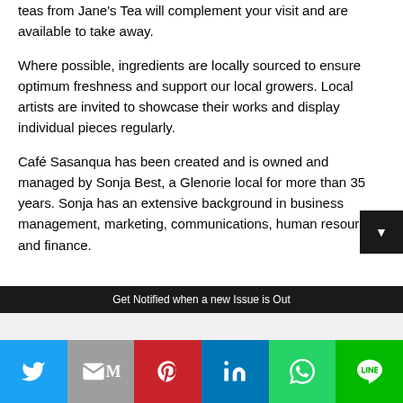teas from Jane's Tea will complement your visit and are available to take away.
Where possible, ingredients are locally sourced to ensure optimum freshness and support our local growers. Local artists are invited to showcase their works and display individual pieces regularly.
Café Sasanqua has been created and is owned and managed by Sonja Best, a Glenorie local for more than 35 years. Sonja has an extensive background in business management, marketing, communications, human resources and finance.
Get Notified when a new Issue is Out